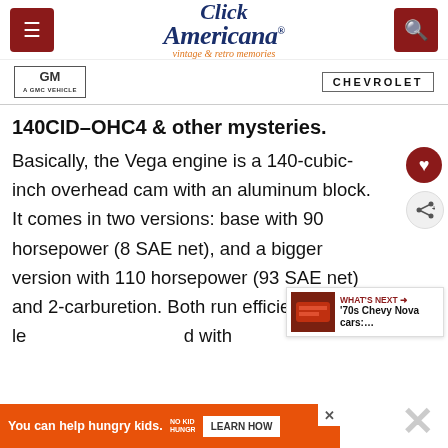Click Americana — vintage & retro memories
[Figure (logo): GM and Chevrolet brand logos bar]
140CID–OHC4 & other mysteries.
Basically, the Vega engine is a 140-cubic-inch overhead cam with an aluminum block. It comes in two versions: base with 90 horsepower (8 SAE net), and a bigger version with 110 horsepower (93 SAE net) and 2-carburetion. Both run efficiently on no-le...d with
[Figure (screenshot): What's Next widget showing '70s Chevy Nova cars]
[Figure (infographic): No Kid Hungry advertisement banner: You can help hungry kids. LEARN HOW]